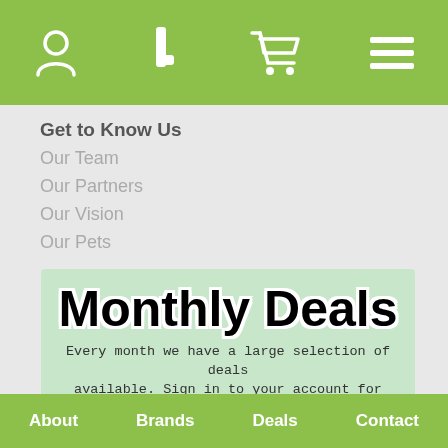Navigation bar with user icon, logo, cart icon, menu icon
Get to Know Us
Our Team
Our Partners
Our Vision
Our Pets
[Figure (infographic): Monthly Deals banner with mint green background, large bold 'Monthly Deals' title, descriptive text 'Every month we have a large selection of deals available. Sign in to your account for access.', logo, hand pointer icon, and 'Click for Deals' text]
About  Brands  Deals  Contact